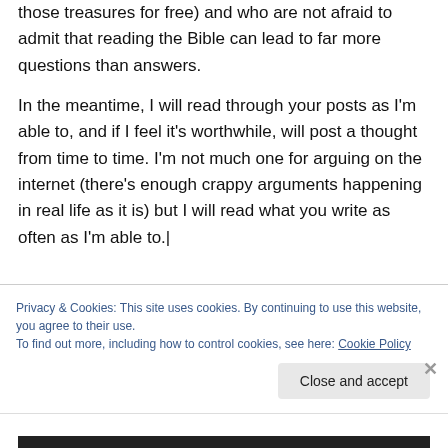those treasures for free) and who are not afraid to admit that reading the Bible can lead to far more questions than answers.
In the meantime, I will read through your posts as I'm able to, and if I feel it's worthwhile, will post a thought from time to time. I'm not much one for arguing on the internet (there's enough crappy arguments happening in real life as it is) but I will read what you write as often as I'm able to.|
Privacy & Cookies: This site uses cookies. By continuing to use this website, you agree to their use.
To find out more, including how to control cookies, see here: Cookie Policy